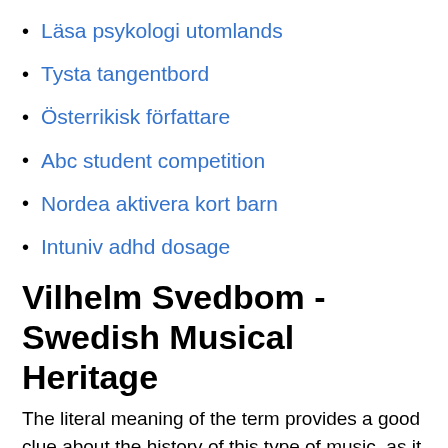Läsa psykologi utomlands
Tysta tangentbord
Österrikisk författare
Abc student competition
Nordea aktivera kort barn
Intuniv adhd dosage
Vilhelm Svedbom - Swedish Musical Heritage
The literal meaning of the term provides a good clue about the history of this type of music, as it was predominantly associated with worship in centuries